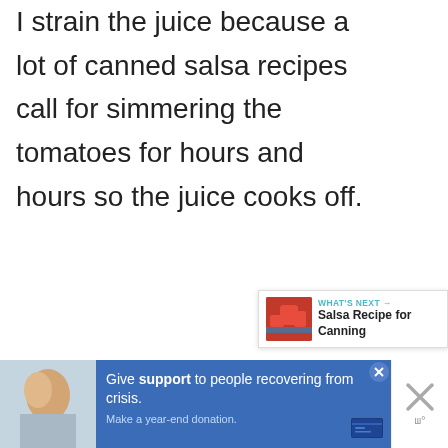I strain the juice because a lot of canned salsa recipes call for simmering the tomatoes for hours and hours so the juice cooks off.
I don't like the taste of cooked salsa, because I feel like it tastes more like a chili sauce than fresh salsa. So, since we aren't
[Figure (screenshot): Floating UI elements: teal heart/like button with count 21, share button, and a 'What's Next' card showing 'Salsa Recipe for Canning' with a thumbnail image]
[Figure (screenshot): Advertisement banner at the bottom: blue background with text 'Give support to people recovering from crisis. Make a year-end donation.' with a photo of people and close buttons]